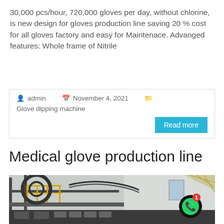30,000 pcs/hour, 720,000 gloves per day, without chlorine, is new design for gloves production line saving 20 % cost for all gloves factory and easy for Maintenace. Advanged features: Whole frame of Nitrile
admin  November 4, 2021  Glove dipping machine
Read more
Medical glove production line
[Figure (photo): Industrial glove production line facility showing large metal frame structure with yellow railings, conveyor machinery, and factory interior]